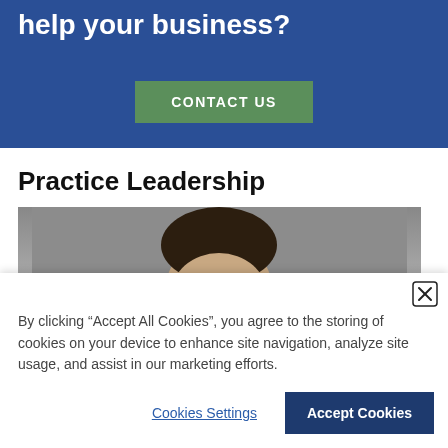help your business?
CONTACT US
Practice Leadership
[Figure (photo): Partial photo of a person's head/face, showing dark hair against a gray background]
By clicking “Accept All Cookies”, you agree to the storing of cookies on your device to enhance site navigation, analyze site usage, and assist in our marketing efforts.
Cookies Settings
Accept Cookies